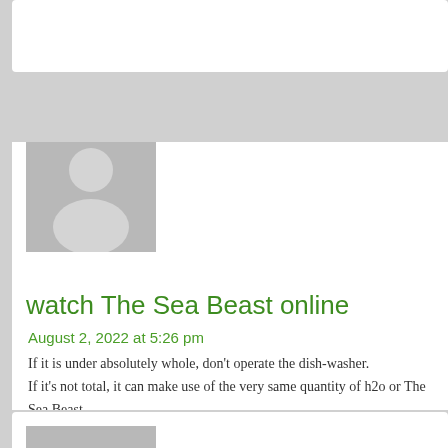[Figure (other): Gray avatar placeholder icon for comment 1 (top, partially visible)]
[Figure (other): Gray avatar placeholder icon for 'watch The Sea Beast online' comment]
watch The Sea Beast online
August 2, 2022 at 5:26 pm
If it is under absolutely whole, don't operate the dish-washer. If it's not total, it can make use of the very same quantity of h2o or The Sea Beast even. Once the dishwashing machine is commonly used, be sure to make use of the electricity-protecting attribute, which oxygen-dries out the mea
[Figure (other): Gray avatar placeholder icon for 'norhhighlandsscotland.com' comment]
norhhighlandsscotland.com
August 2, 2022 at 6:52 pm
I'm really loving the theme/design of your web site.